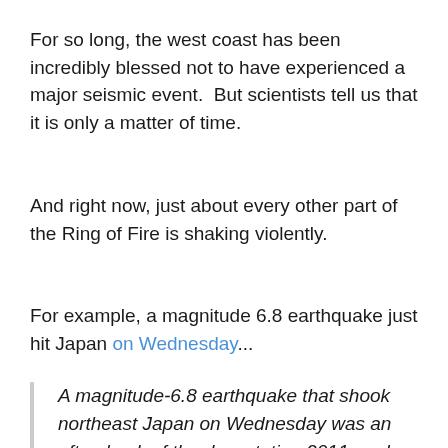For so long, the west coast has been incredibly blessed not to have experienced a major seismic event.  But scientists tell us that it is only a matter of time.
And right now, just about every other part of the Ring of Fire is shaking violently.
For example, a magnitude 6.8 earthquake just hit Japan on Wednesday...
A magnitude-6.8 earthquake that shook northeast Japan on Wednesday was an aftershock of the devastating 2011 quake that